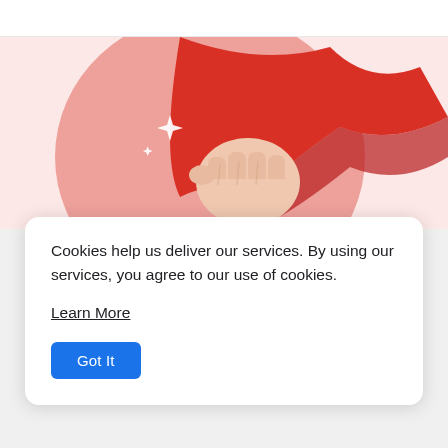[Figure (illustration): A fist holding a red flag or banner, illustrated in red and salmon tones against a pink background. White sparkle stars appear to the left of the fist.]
Cookies help us deliver our services. By using our services, you agree to our use of cookies.
Learn More
Got It